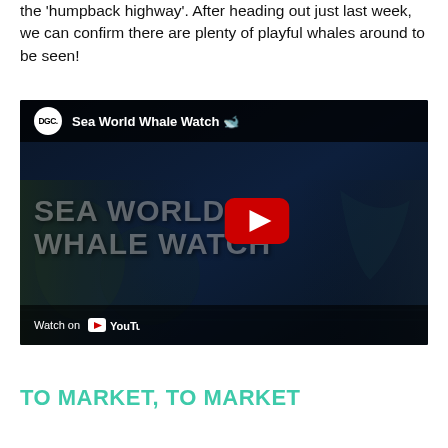the 'humpback highway'. After heading out just last week, we can confirm there are plenty of playful whales around to be seen!
[Figure (screenshot): YouTube video thumbnail for 'Sea World Whale Watch' by DGC channel, showing a dark underwater/ocean scene with 'SEA WORLD WHALE WATCH' text overlay and a red YouTube play button.]
TO MARKET, TO MARKET